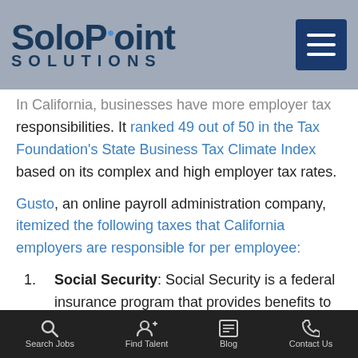SoloPoint SOLUTIONS
In California, businesses have more employer tax responsibilities. It ranked 49 out of 50 in the Tax Foundation's State Business Tax Climate Index based on its complex and high employer tax rates.
Gusto, an online payroll administration company, itemized the following taxes that California employers are responsible for per employee:
Social Security: Social Security is a federal insurance program that provides benefits to retired employees and the disabled.
Search Jobs   Find Talent   Blog   Contact Us